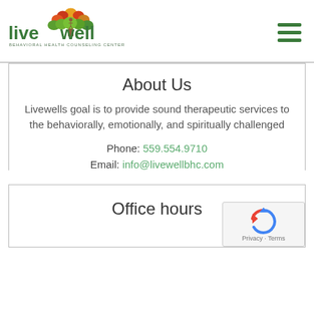[Figure (logo): LiveWell Behavioral Health Counseling Center logo with colorful tree and green text]
About Us
Livewells goal is to provide sound therapeutic services to the behaviorally, emotionally, and spiritually challenged
Phone: 559.554.9710
Email: info@livewellbhc.com
Office hours
[Figure (other): Google reCAPTCHA badge with Privacy and Terms links]